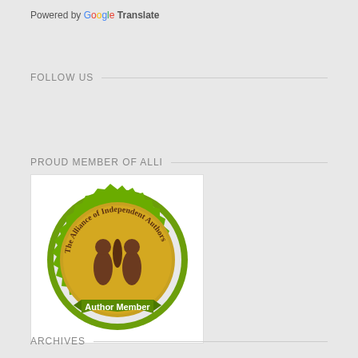Powered by Google Translate
FOLLOW US
PROUD MEMBER OF ALLI
[Figure (logo): Alliance of Independent Authors Author Member badge — a green serrated circular seal with a gold center, showing a quill pen and two figures, with a green ribbon banner reading 'Author Member' and text around the edge reading 'The Alliance of Independent Authors']
ARCHIVES